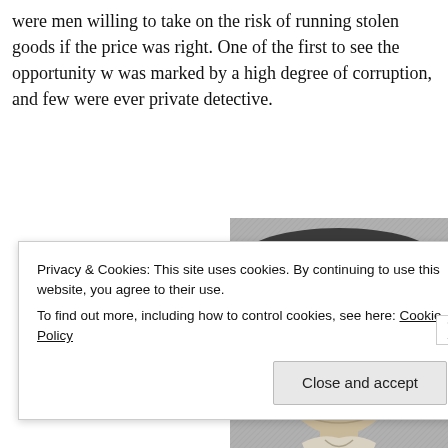were men willing to take on the risk of running stolen goods if the price was right. One of the first to see the opportunity was marked by a high degree of corruption, and few were ever private detective.
[Figure (illustration): Historical engraving portrait of a man wearing a tricorn hat with curly hair, depicted in black and white etching style.]
Privacy & Cookies: This site uses cookies. By continuing to use this website, you agree to their use.
To find out more, including how to control cookies, see here: Cookie Policy